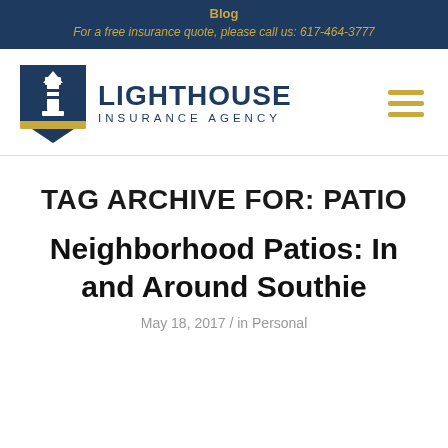Blog
For a free insurance quote, please call us: 617-464-3777
[Figure (logo): Lighthouse Insurance Agency logo with lighthouse icon and bold navy text]
TAG ARCHIVE FOR: PATIO
Neighborhood Patios: In and Around Southie
May 18, 2017 / in Personal